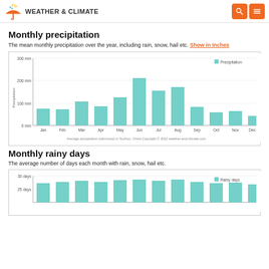WEATHER & CLIMATE
Monthly precipitation
The mean monthly precipitation over the year, including rain, snow, hail etc. Show in Inches
[Figure (bar-chart): Average precipitation (rain/snow) in Suzhou, China]
Monthly rainy days
The average number of days each month with rain, snow, hail etc.
[Figure (bar-chart): Partial chart visible showing 30 days and 25 days gridlines]